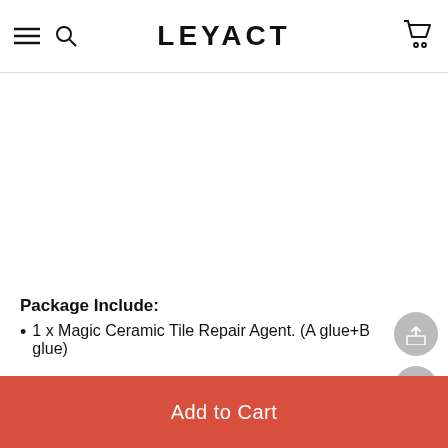LEYACT
Package Include:
1 x Magic Ceramic Tile Repair Agent. (A glue+B glue)
Notes:
A good Repair idea is to have same effect...
Add to Cart